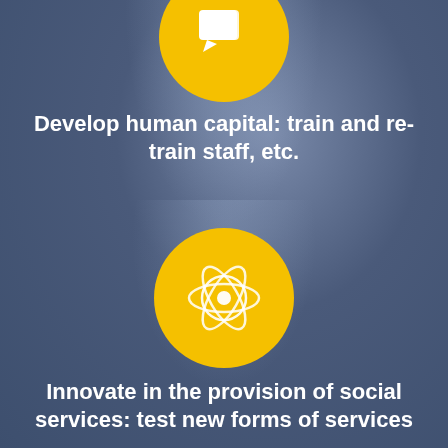[Figure (illustration): Yellow circle icon with white speech/document icon, partially cropped at top of page]
Develop human capital: train and re-train staff, etc.
[Figure (illustration): Yellow circle icon with white globe/network atom icon in center of page]
Innovate in the provision of social services: test new forms of services